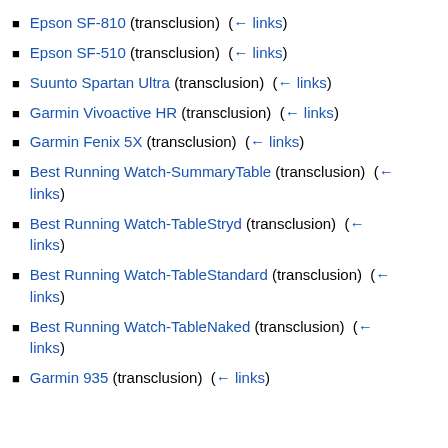Epson SF-810 (transclusion) (← links)
Epson SF-510 (transclusion) (← links)
Suunto Spartan Ultra (transclusion) (← links)
Garmin Vivoactive HR (transclusion) (← links)
Garmin Fenix 5X (transclusion) (← links)
Best Running Watch-SummaryTable (transclusion) (← links)
Best Running Watch-TableStryd (transclusion) (← links)
Best Running Watch-TableStandard (transclusion) (← links)
Best Running Watch-TableNaked (transclusion) (← links)
Garmin 935 (transclusion) (← links)